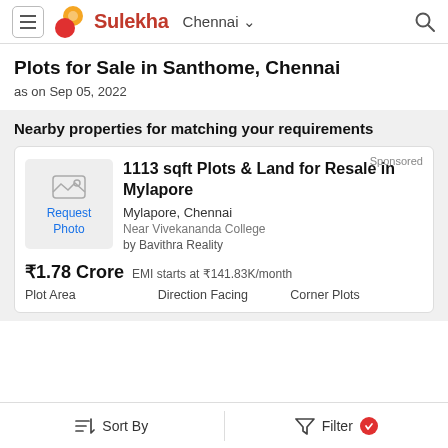Sulekha Chennai
Plots for Sale in Santhome, Chennai
as on Sep 05, 2022
Nearby properties for matching your requirements
Sponsored
1113 sqft Plots & Land for Resale in Mylapore
Mylapore, Chennai
Near Vivekananda College
by Bavithra Reality
₹1.78 Crore  EMI starts at ₹141.83K/month
Plot Area  Direction Facing  Corner Plots
Sort By   Filter